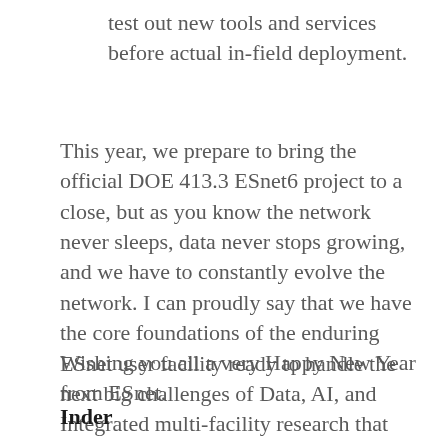test out new tools and services before actual in-field deployment.
This year, we prepare to bring the official DOE 413.3 ESnet6 project to a close, but as you know the network never sleeps, data never stops growing, and we have to constantly evolve the network. I can proudly say that we have the core foundations of the enduring ESnet user facility ready to handle the next big challenges of Data, AI, and Integrated multi-facility research that the scientists and National Labs are actively pursuing.
Wishing you all a very Happy New Year from ESnet.
Inder